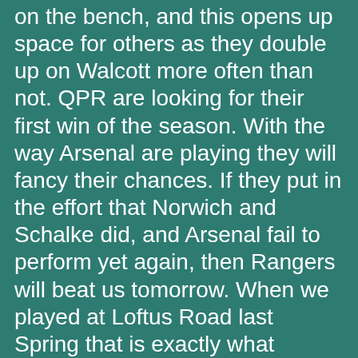on the bench, and this opens up space for others as they double up on Walcott more often than not. QPR are looking for their first win of the season. With the way Arsenal are playing they will fancy their chances. If they put in the effort that Norwich and Schalke did, and Arsenal fail to perform yet again, then Rangers will beat us tomorrow. When we played at Loftus Road last Spring that is exactly what happened - Arsenal were woeful and QPR put in the hard yards to get a deserved win. It was one of the games that Wenger told us he had underestimated the opponents, just as he did last week. I've always not minded QPR for some reason, but since Mark Hughes took over I've disliked them a lot. Hughes is a cretin of the highest order, and an utterly awful Manager - do you remember his "tactics" when we played Blackburn in the FA Cup Semi-Final at Cardiff in 2005? Basically it involved Robbie Savage and Andy Todd assaulting anyone in a red shirt. As a player Hughes was a real talent, but was among the